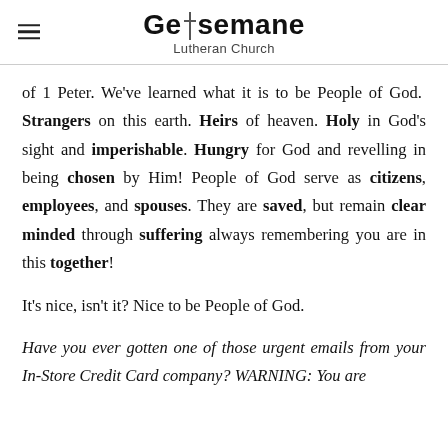Gethsemane Lutheran Church
of 1 Peter. We've learned what it is to be People of God. Strangers on this earth. Heirs of heaven. Holy in God's sight and imperishable. Hungry for God and revelling in being chosen by Him! People of God serve as citizens, employees, and spouses. They are saved, but remain clear minded through suffering always remembering you are in this together!
It's nice, isn't it? Nice to be People of God.
Have you ever gotten one of those urgent emails from your In-Store Credit Card company? WARNING: You are